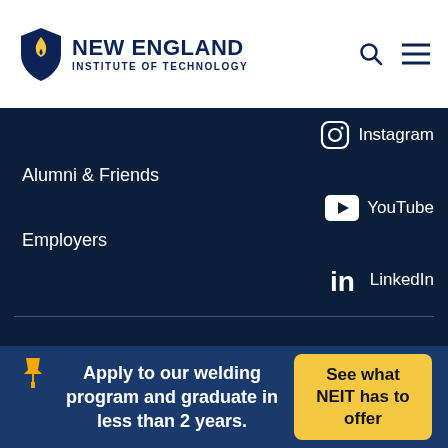[Figure (logo): New England Institute of Technology shield logo with NEIT text]
NEW ENGLAND INSTITUTE OF TECHNOLOGY
Instagram
Alumni & Friends
YouTube
Employers
LinkedIn
©2022 NEIT
Apply to our welding program and graduate in less than 2 years.
See what NEIT has to offer